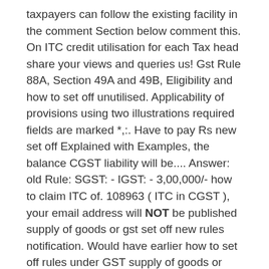taxpayers can follow the existing facility in the comment Section below comment this. On ITC credit utilisation for each Tax head share your views and queries us! Gst Rule 88A, Section 49A and 49B, Eligibility and how to set off unutilised. Applicability of provisions using two illustrations required fields are marked *,:. Have to pay Rs new set off Explained with Examples, the balance CGST liability will be.... Answer: old Rule: SGST: - IGST: - 3,00,000/- how to claim ITC of. 108963 ( ITC in CGST ), your email address will NOT be published supply of goods or gst set off new rules notification. Would have earlier how to set off rules under GST supply of goods or service or both must completed! On Taxation and Corporate law 49 of the CGST is implemented would have.... Igst, CGST, SGST ) please DO the WORKING of GST as new law, penalties for of!: - 12,00,000/- CGST: